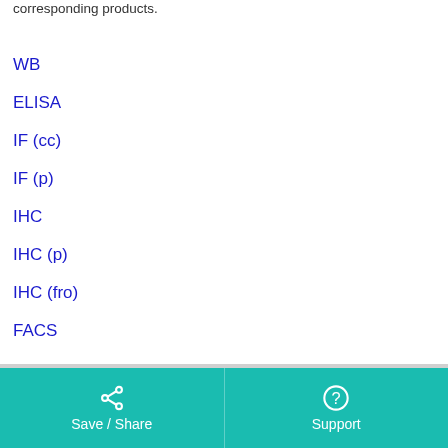corresponding products.
WB
ELISA
IF (cc)
IF (p)
IHC
IHC (p)
IHC (fro)
FACS
Save / Share   Support